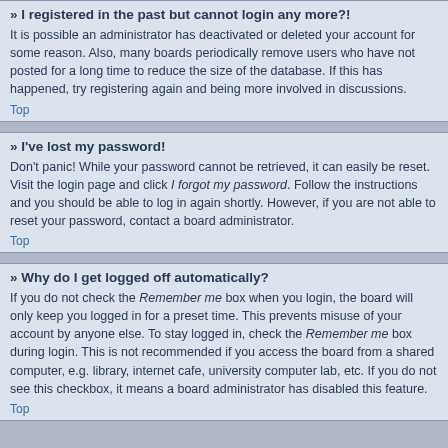» I registered in the past but cannot login any more?!
It is possible an administrator has deactivated or deleted your account for some reason. Also, many boards periodically remove users who have not posted for a long time to reduce the size of the database. If this has happened, try registering again and being more involved in discussions.
Top
» I've lost my password!
Don't panic! While your password cannot be retrieved, it can easily be reset. Visit the login page and click I forgot my password. Follow the instructions and you should be able to log in again shortly. However, if you are not able to reset your password, contact a board administrator.
Top
» Why do I get logged off automatically?
If you do not check the Remember me box when you login, the board will only keep you logged in for a preset time. This prevents misuse of your account by anyone else. To stay logged in, check the Remember me box during login. This is not recommended if you access the board from a shared computer, e.g. library, internet cafe, university computer lab, etc. If you do not see this checkbox, it means a board administrator has disabled this feature.
Top